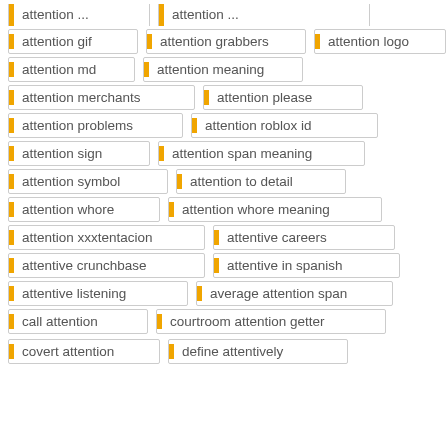attention gif
attention grabbers
attention logo
attention md
attention meaning
attention merchants
attention please
attention problems
attention roblox id
attention sign
attention span meaning
attention symbol
attention to detail
attention whore
attention whore meaning
attention xxxtentacion
attentive careers
attentive crunchbase
attentive in spanish
attentive listening
average attention span
call attention
courtroom attention getter
covert attention
define attentively